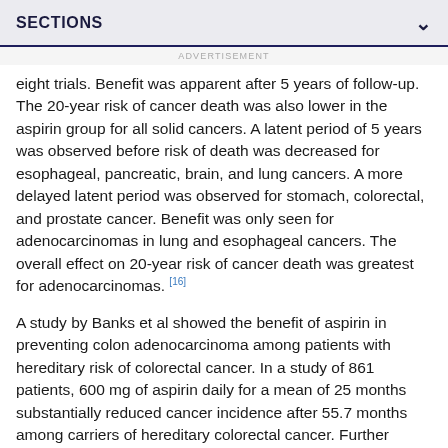SECTIONS
ADVERTISEMENT
eight trials. Benefit was apparent after 5 years of follow-up. The 20-year risk of cancer death was also lower in the aspirin group for all solid cancers. A latent period of 5 years was observed before risk of death was decreased for esophageal, pancreatic, brain, and lung cancers. A more delayed latent period was observed for stomach, colorectal, and prostate cancer. Benefit was only seen for adenocarcinomas in lung and esophageal cancers. The overall effect on 20-year risk of cancer death was greatest for adenocarcinomas. [16]
A study by Banks et al showed the benefit of aspirin in preventing colon adenocarcinoma among patients with hereditary risk of colorectal cancer. In a study of 861 patients, 600 mg of aspirin daily for a mean of 25 months substantially reduced cancer incidence after 55.7 months among carriers of hereditary colorectal cancer. Further studies are needed to determine the ideal dosage and duration. [17]